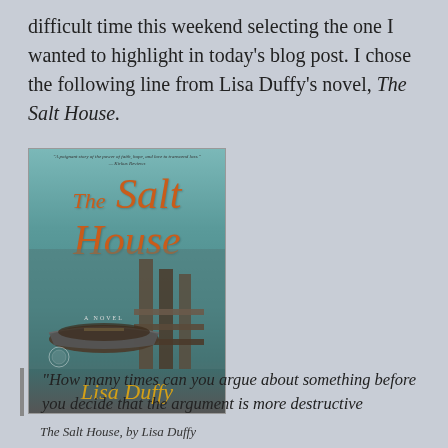difficult time this weekend selecting the one I wanted to highlight in today's blog post. I chose the following line from Lisa Duffy's novel, The Salt House.
[Figure (illustration): Book cover of 'The Salt House' by Lisa Duffy. Orange/rust handwritten-style title text on a misty teal lake background with a rowboat and wooden dock. Author name in golden script at bottom.]
The Salt House, by Lisa Duffy
“How many times can you argue about something before you decide that the argument is more destructive